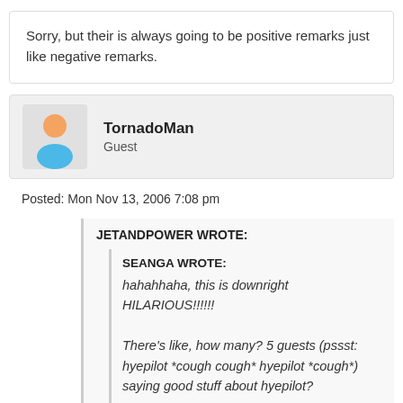Sorry, but their is always going to be positive remarks just like negative remarks.
TornadoMan
Guest
Posted: Mon Nov 13, 2006 7:08 pm
JETANDPOWER WROTE:
SEANGA WROTE:
hahahhaha, this is downright HILARIOUS!!!!!! There's like, how many? 5 guests (pssst: hyepilot *cough cough* hyepilot *cough*) saying good stuff about hyepilot?